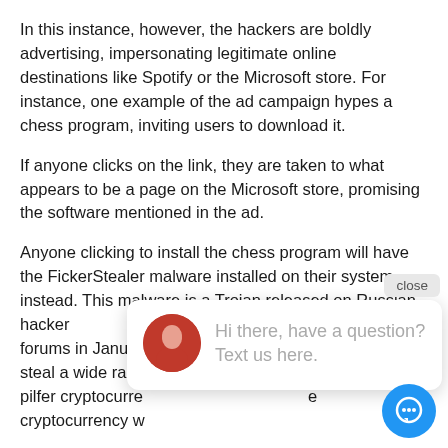In this instance, however, the hackers are boldly advertising, impersonating legitimate online destinations like Spotify or the Microsoft store. For instance, one example of the ad campaign hypes a chess program, inviting users to download it.
If anyone clicks on the link, they are taken to what appears to be a page on the Microsoft store, promising the software mentioned in the ad.
Anyone clicking to install the chess program will have the FickerStealer malware installed on their system instead. This malware is a Trojan released on Russian hac[ker] forums in Januar[y] [...(2021)...] [...] steal a wide rang[e...] [...] o pilfer cryptocurre[ncy...] [...] e cryptocurrency w[...]
All stolen data is zipped for compression and perio[dically] exfiltrated to a command and control server run by the hackers. Even worse, the developers behind this p[articular] malware strain posted it on the hacker forums in o[rder to] gin up customers, as their goal has been, from the start,